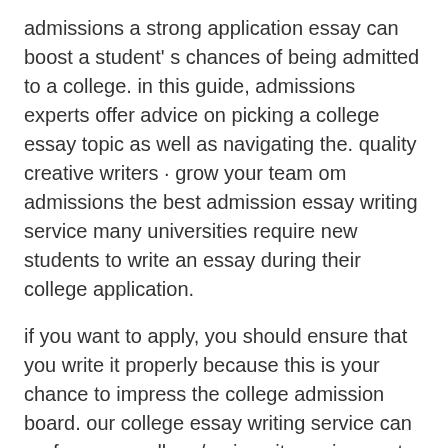admissions a strong application essay can boost a student's chances of being admitted to a college. in this guide, admissions experts offer advice on picking a college essay topic as well as navigating the. quality creative writers · grow your team om admissions the best admission essay writing service many universities require new students to write an essay during their college application.
if you want to apply, you should ensure that you write it properly because this is your chance to impress the college admission board. our college essay writing service can perform any college/ university assignment perfectly to allow you to reach your educational objectives. advantages of our admission essay writing service. if you are looking for qualified college admission essay writing service. our agency is capable of providing you all requirements your college may have. english paper writing help. knowledge of english is determined not only by pure pronunciation. often, even students are asked to write a short essay or story in order to determine the level of proficiency in written english. but what if